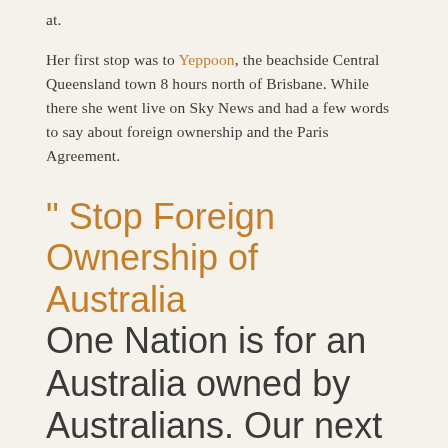at.
Her first stop was to Yeppoon, the beachside Central Queensland town 8 hours north of Brisbane. While there she went live on Sky News and had a few words to say about foreign ownership and the Paris Agreement.
" Stop Foreign Ownership of Australia
One Nation is for an Australia owned by Australians. Our next door neighbours in New Zealand have just banned foreign home ownership.Yet, our government still allows our ports, power, railways, water and public assets to be sold off